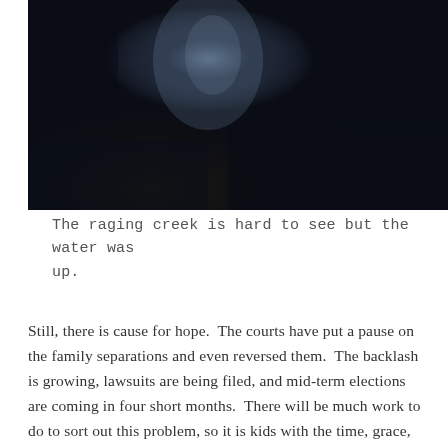[Figure (photo): A dark, nearly black photograph showing a raging creek or river scene, very low visibility, with a faint bluish-white shape visible in the upper center area against the dark background.]
The raging creek is hard to see but the water was up.
Still, there is cause for hope.  The courts have put a pause on the family separations and even reversed them.  The backlash is growing, lawsuits are being filed, and mid-term elections are coming in four short months.  There will be much work to do to sort out this problem, so it is kids with the time, grace, and